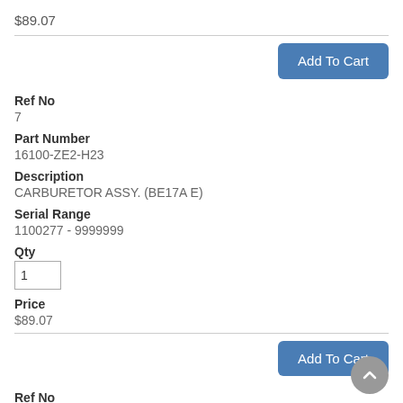$89.07
Add To Cart
Ref No
7
Part Number
16100-ZE2-H23
Description
CARBURETOR ASSY. (BE17A E)
Serial Range
1100277 - 9999999
Qty
1
Price
$89.07
Add To Cart
Ref No
8